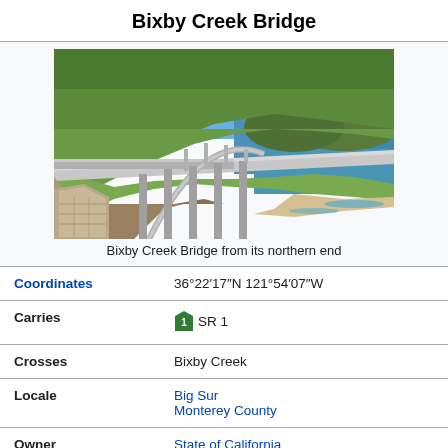Bixby Creek Bridge
[Figure (photo): Photograph of Bixby Creek Bridge from its northern end, showing the concrete arch bridge spanning a creek with rugged Big Sur coastline, green hillsides, and Pacific Ocean in the background under a blue sky.]
Bixby Creek Bridge from its northern end
| Coordinates | 36°22′17″N 121°54′07″W |
| Carries | SR 1 |
| Crosses | Bixby Creek |
| Locale | Big Sur
Monterey County |
| Owner | State of California |
| Maintained by | California Department of Transportation |
| Characteristics |  |